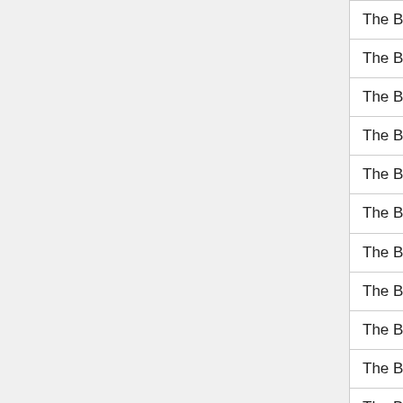| Game Title | Col2 | Col3 |
| --- | --- | --- |
| The Big Adventure Of Owata's Life | N/A | N |
| The Bill Cosby Fun Game | N/A | N |
| The Binding of Isaac Demo | Yes | ca |
| The Bird and The Sea | N/A | N |
| The Birdinator: Judgement Season | N/A | N |
| The Blind Swordsman | N/A | N |
| The Blocks Cometh | N/A | N |
| The Blue Chamber | N/A | N |
| The Book of Living Magic | N/A | N |
| The Bottom of the Sea | N/A | N |
| The Breach | N/A | N |
| The Bright In The Screen | N/A | N |
| The Budget Invasion | N/A | N |